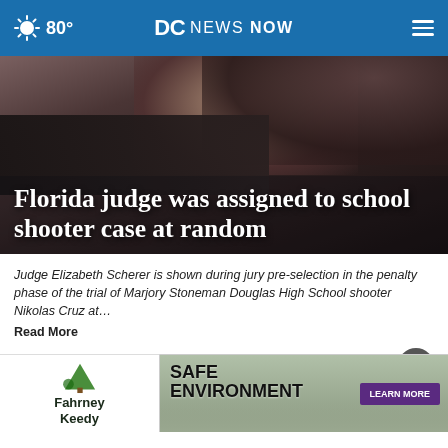80° DC NEWS NOW
[Figure (photo): A person (judge) shown with hand raised near face, dark background, appears to be in a courtroom setting]
Florida judge was assigned to school shooter case at random
Judge Elizabeth Scherer is shown during jury pre-selection in the penalty phase of the trial of Marjory Stoneman Douglas High School shooter Nikolas Cruz at… Read More
by: TERRY SPENCER, Associated Press
Posted: ...
Updated: ...
SHARE
[Figure (screenshot): Advertisement banner: Fahrney Keedy on the left with tree logo, Safe Environment with Learn More button on the right]